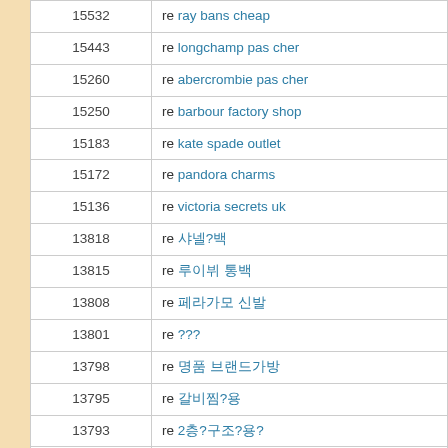| number | text |
| --- | --- |
| 15532 | re ray bans cheap |
| 15443 | re longchamp pas cher |
| 15260 | re abercrombie pas cher |
| 15250 | re barbour factory shop |
| 15183 | re kate spade outlet |
| 15172 | re pandora charms |
| 15136 | re victoria secrets uk |
| 13818 | re 샤넬?백 |
| 13815 | re 루이뷔 통백 |
| 13808 | re 페라가모 신발 |
| 13801 | re ??? |
| 13798 | re 명품 브랜드가방 |
| 13795 | re 갈비찜?용 |
| 13793 | re 2층?구조?용? |
| 13778 | re 명품가 방 |